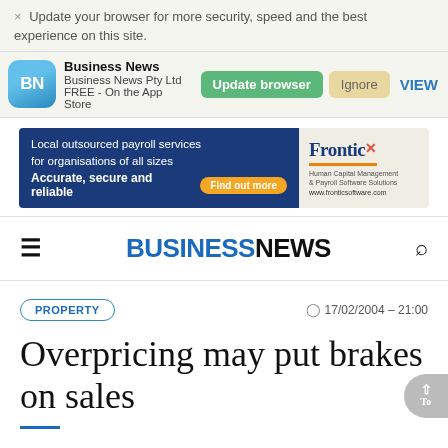Update your browser for more security, speed and the best experience on this site.
[Figure (screenshot): App install banner for Business News app showing app icon with 'BN' text, app name 'Business News', publisher 'Business News Pty Ltd', 'FREE - On the App Store', with Update browser, Ignore, and VIEW buttons]
[Figure (screenshot): Advertisement banner for Frontic software: 'Local outsourced payroll services for organisations of all sizes. Accurate, secure and reliable' with 'Find out more' CTA button and Frontic brand logo on right side]
BUSINESSNEWS
PROPERTY
17/02/2004 - 21:00
Overpricing may put brakes on sales